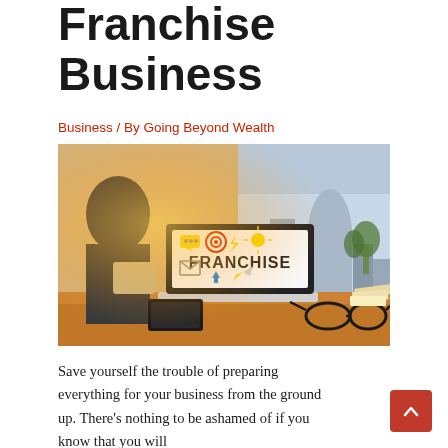Franchise Business
Business / By Going Beyond Wealth
[Figure (photo): A person holding a tablet sits at a desk with a laptop whose screen displays 'FRANCHISE' with colorful icons. Glasses and papers rest nearby on the desk. A city skyline is visible through large windows in the background.]
Save yourself the trouble of preparing everything for your business from the ground up. There's nothing to be ashamed of if you know that you will